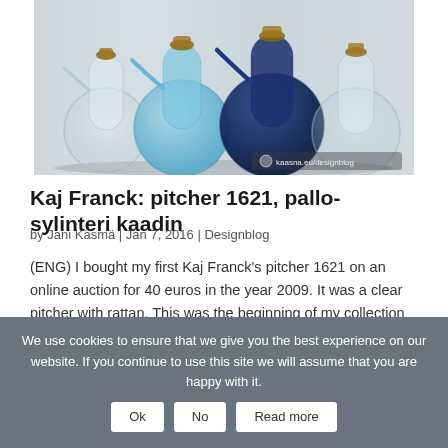[Figure (photo): Product photo of Kaj Franck pitcher 1621 glass carafes in clear, light blue, and dark navy blue colors with cork/rattan stoppers, on a light grey background. Watermark: kaasna.eu/designblog]
Kaj Franck: pitcher 1621, pallo-sylinteri kaadin
by Jani Käsmä  |  Jan 7, 2016  |  Designblog
(ENG) I bought my first Kaj Franck's pitcher 1621 on an online auction for 40 euros in the year 2009. It was a clear pitcher with rattan. This was the beginning of my collection of these pitchers, which I now have seven – five with rattan and two without it. The…
We use cookies to ensure that we give you the best experience on our website. If you continue to use this site we will assume that you are happy with it.